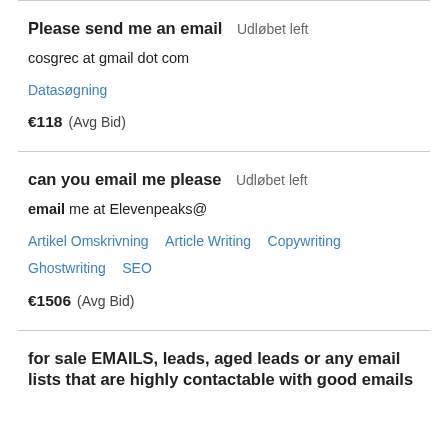Please send me an email  Udløbet left
cosgrec at gmail dot com
Datasøgning
€118  (Avg Bid)
can you email me please  Udløbet left
email me at Elevenpeaks@
Artikel Omskrivning  Article Writing  Copywriting  Ghostwriting  SEO
€1506  (Avg Bid)
for sale EMAILS, leads, aged leads or any email lists that are highly contactable with good emails